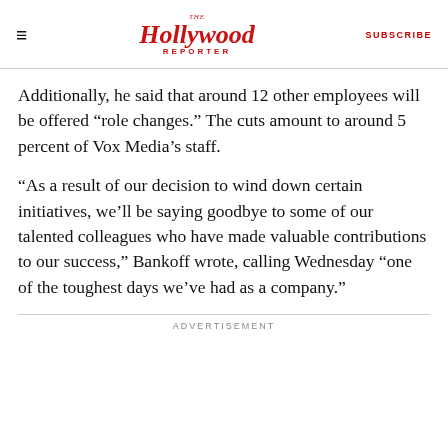The Hollywood Reporter | SUBSCRIBE
Additionally, he said that around 12 other employees will be offered “role changes.” The cuts amount to around 5 percent of Vox Media’s staff.
“As a result of our decision to wind down certain initiatives, we’ll be saying goodbye to some of our talented colleagues who have made valuable contributions to our success,” Bankoff wrote, calling Wednesday “one of the toughest days we’ve had as a company.”
ADVERTISEMENT